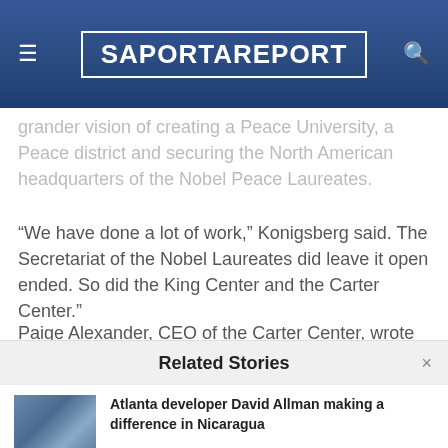SaportaReport
grander vision of creating a Peace University, a Peace district and securing the North American headquarters of the Nobel Peace Laureates.
“We have done a lot of work,” Konigsberg said. The Secretariat of the Nobel Laureates did leave it open ended. So did the King Center and the Carter Center.”
Paige Alexander, CEO of the Carter Center, wrote
Related Stories
Atlanta developer David Allman making a difference in Nicaragua